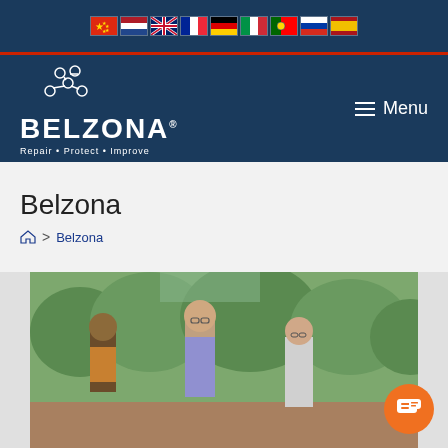Flag bar with language selector flags: Chinese, Dutch, English, French, German, Italian, Portuguese, Russian, Spanish
[Figure (logo): Belzona logo with molecule graphic and tagline Repair • Protect • Improve on dark blue navigation bar with Menu button]
Belzona
🏠 > Belzona
[Figure (photo): Three people smiling outdoors, standing near a bronze statue, with green trees in background]